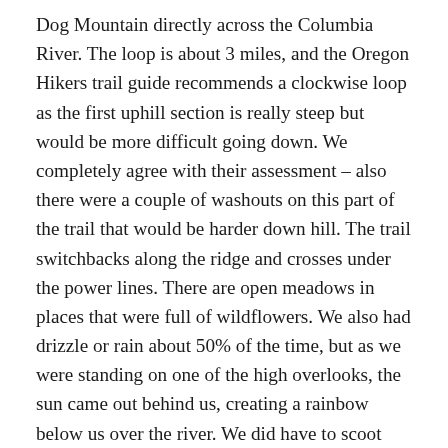Dog Mountain directly across the Columbia River.  The loop is about 3 miles, and the Oregon Hikers trail guide recommends a clockwise loop as the first uphill section is really steep but would be more difficult going down.  We completely agree with their assessment – also there were a couple of washouts on this part of the trail that would be harder down hill.  The trail switchbacks along the ridge and crosses under the power lines.  There are open meadows in places that were full of wildflowers.  We also had drizzle or rain about 50% of the time, but as we were standing on one of the high overlooks, the sun came out behind us, creating a rainbow below us over the river.  We did have to scoot across one stream crossing on a log on our backsides. We enjoyed the hike, and we had the trail entirely to ourselves.  (3 miles, 1100 feet )  We finished the Starvation hike around lunchtime, and then we had a hike earlier in the morning about the...